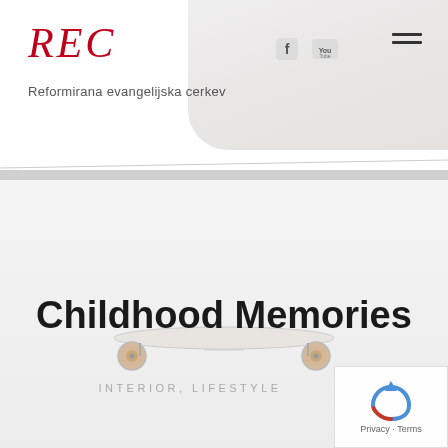[Figure (screenshot): Website header with REC logo, navigation, and food background image]
REC
Reformirana evangelijska cerkev
[Figure (screenshot): Skateboard low-angle photo against light background]
Childhood Memories
INTERIOR, LIFESTYLE